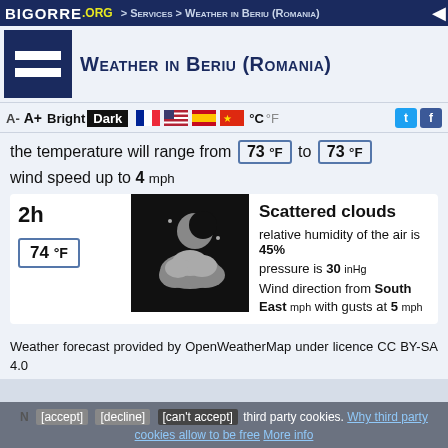BIGORRE .ORG > Services > Weather in Beriu (Romania)
Weather in Beriu (Romania)
A-  A+  Bright  Dark  °C  °F
the temperature will range from 73 °F to 73 °F
wind speed up to 4 mph
2h
74 °F
[Figure (illustration): Weather icon showing scattered clouds with moon on black background]
Scattered clouds
relative humidity of the air is 45%
pressure is 30 inHg
Wind direction from South East mph with gusts at 5 mph
Weather forecast provided by OpenWeatherMap under licence CC BY-SA 4.0
[accept] [decline] [can't accept] third party cookies. Why third party cookies allow to be free  More info